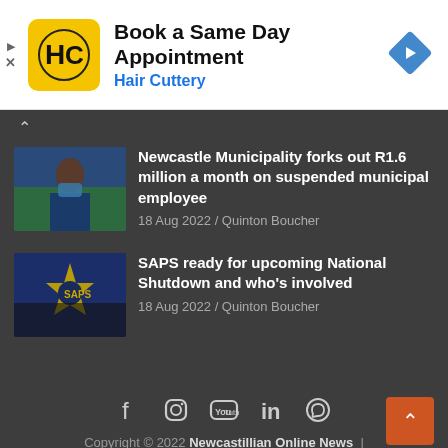[Figure (other): Hair Cuttery advertisement banner. HC logo in yellow square on left, text 'Book a Same Day Appointment / Hair Cuttery', blue diamond arrow icon on right.]
Newcastle Municipality forks out R1.6 million a month on suspended municipal employee
18 Aug 2022 / Quinton Boucher
SAPS ready for upcoming National Shutdown and who's involved
18 Aug 2022 / Quinton Boucher
Copyright © 2022 Newcastillian Online News | Privacy Policy